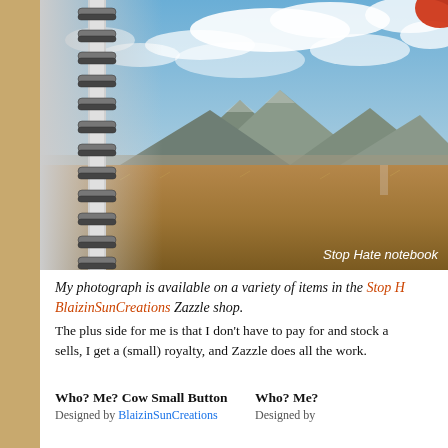[Figure (photo): A spiral-bound notebook with a landscape photograph on the cover showing mountains, sky with clouds, and a dry grassy plain/field in the foreground. The spiral binding is visible on the left side of the notebook.]
Stop Hate notebook
My photograph is available on a variety of items in the Stop H[ate] BlaizinSunCreations Zazzle shop.
The plus side for me is that I don't have to pay for and stock a[ny inventory]; when it sells, I get a (small) royalty, and Zazzle does all the work.
Who? Me? Cow Small Button
Designed by BlaizinSunCreations
Who? Me?
Designed by